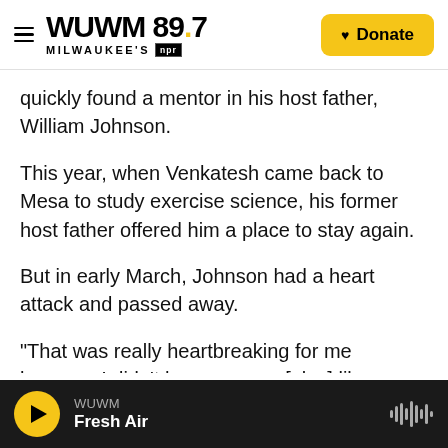WUWM 89.7 MILWAUKEE'S NPR — Donate
quickly found a mentor in his host father, William Johnson.
This year, when Venkatesh came back to Mesa to study exercise science, his former host father offered him a place to stay again.
But in early March, Johnson had a heart attack and passed away.
"That was really heartbreaking for me because I didn't have anyone [else] like [Johnson] over here," Venkatesh says. "Once he passed away, I was lost.
WUWM — Fresh Air